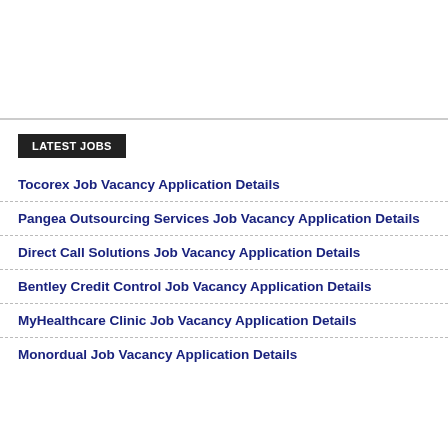LATEST JOBS
Tocorex Job Vacancy Application Details
Pangea Outsourcing Services Job Vacancy Application Details
Direct Call Solutions Job Vacancy Application Details
Bentley Credit Control Job Vacancy Application Details
MyHealthcare Clinic Job Vacancy Application Details
Monordual Job Vacancy Application Details